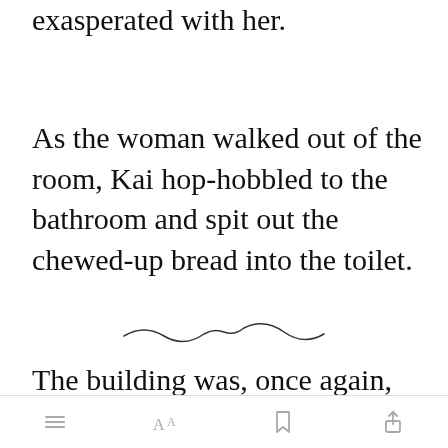exasperated with her.
As the woman walked out of the room, Kai hop-hobbled to the bathroom and spit out the chewed-up bread into the toilet.
[Figure (illustration): Decorative squiggly divider line]
The building was, once again, suspiciously q[Open in app] elevator had,
toolbar with menu, font, bookmark, and share icons